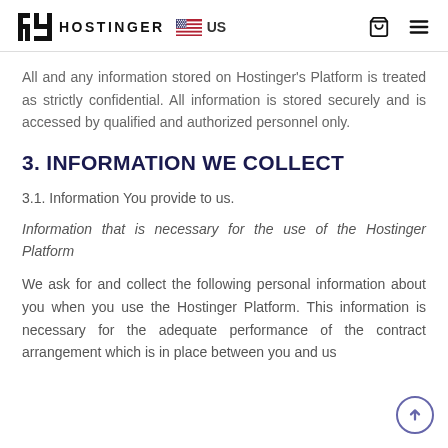HOSTINGER US
All and any information stored on Hostinger's Platform is treated as strictly confidential. All information is stored securely and is accessed by qualified and authorized personnel only.
3. INFORMATION WE COLLECT
3.1. Information You provide to us.
Information that is necessary for the use of the Hostinger Platform
We ask for and collect the following personal information about you when you use the Hostinger Platform. This information is necessary for the adequate performance of the contract arrangement which is in place between you and us